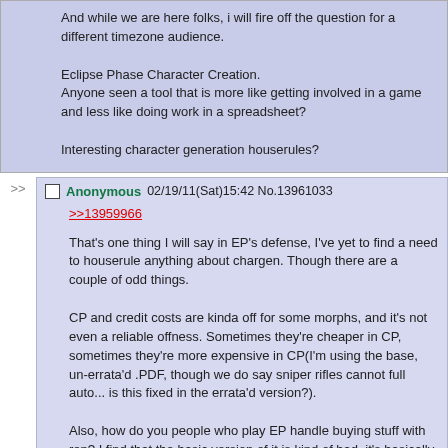And while we are here folks, i will fire off the question for a different timezone audience.

Eclipse Phase Character Creation.
Anyone seen a tool that is more like getting involved in a game and less like doing work in a spreadsheet?

Interesting character generation houserules?
Anonymous 02/19/11(Sat)15:42 No.13961033
>>13959966

That's one thing I will say in EP's defense, I've yet to find a need to houserule anything about chargen. Though there are a couple of odd things.

CP and credit costs are kinda off for some morphs, and it's not even a reliable offness. Sometimes they're cheaper in CP, sometimes they're more expensive in CP(I'm using the base, un-errata'd .PDF, though we do say sniper rifles cannot full auto... is this fixed in the errata'd version?).

Also, how do you people who play EP handle buying stuff with rep? I find that the basic version of it is kind of bad, it's basically like gambling on getting stuff free, with the problem that if you have enough rep, you're not really risking anything.